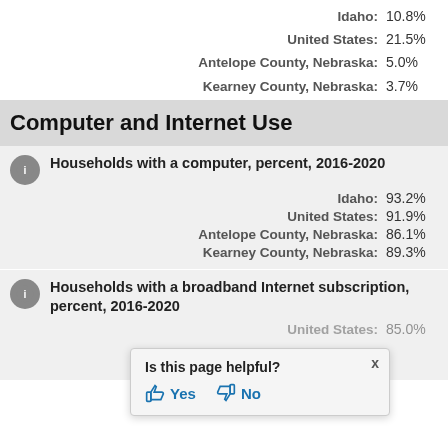Idaho: 10.8%
United States: 21.5%
Antelope County, Nebraska: 5.0%
Kearney County, Nebraska: 3.7%
Computer and Internet Use
Households with a computer, percent, 2016-2020
Idaho: 93.2%
United States: 91.9%
Antelope County, Nebraska: 86.1%
Kearney County, Nebraska: 89.3%
Households with a broadband Internet subscription, percent, 2016-2020
[Figure (infographic): Is this page helpful? Yes / No popup overlay with thumbs up and thumbs down icons]
United States: 85.0%